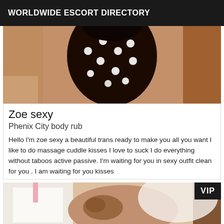WORLDWIDE ESCORT DIRECTORY
[Figure (photo): Close-up photo of a person wearing a black and white polka dot dress, warm skin tones visible]
Zoe sexy
Phenix City body rub
Hello I'm zoe sexy a beautiful trans ready to make you all you want I like to do massage cuddle kisses I love to suck I do everything without taboos active passive. I'm waiting for you in sexy outfit clean for you . I am waiting for you kisses
[Figure (photo): Close-up photo of a person in white clothing, with a VIP badge overlay in the top right corner]